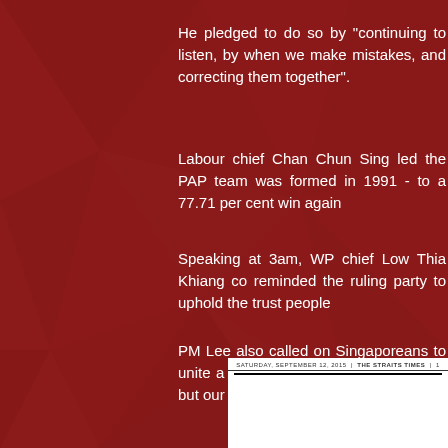He pledged to do so by "continuing to listen, by when we make mistakes, and correcting them together".
Labour chief Chan Chun Sing led the PAP team was formed in 1991 - to a 77.71 per cent win again
Speaking at 3am, WP chief Low Thia Khiang co reminded the ruling party to uphold the trust people
PM Lee also called on Singaporeans to unite a adding: "The elections are over, but our work has j
[Figure (screenshot): Bottom portion of a newspaper page from The Straits Times dated Saturday September 12, 2015]